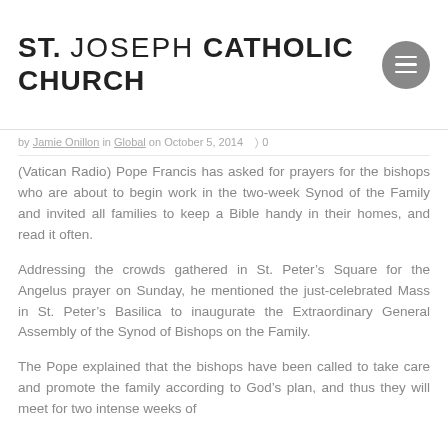ST. JOSEPH CATHOLIC CHURCH
by Jamie Onillon in Global on October 5, 2014  0
(Vatican Radio) Pope Francis has asked for prayers for the bishops who are about to begin work in the two-week Synod of the Family and invited all families to keep a Bible handy in their homes, and read it often.
Addressing the crowds gathered in St. Peter’s Square for the Angelus prayer on Sunday, he mentioned the just-celebrated Mass in St. Peter’s Basilica to inaugurate the Extraordinary General Assembly of the Synod of Bishops on the Family.
The Pope explained that the bishops have been called to take care and promote the family according to God’s plan, and thus they will meet for two intense weeks of